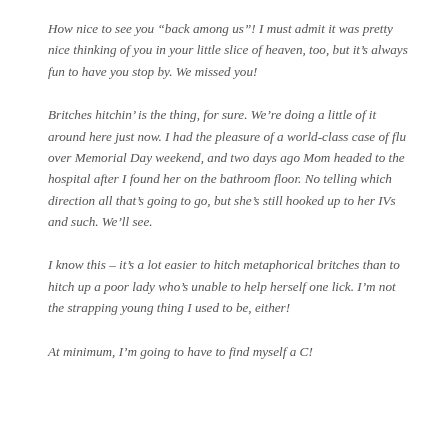How nice to see you “back among us”! I must admit it was pretty nice thinking of you in your little slice of heaven, too, but it’s always fun to have you stop by. We missed you!
Britches hitchin’ is the thing, for sure. We’re doing a little of it around here just now. I had the pleasure of a world-class case of flu over Memorial Day weekend, and two days ago Mom headed to the hospital after I found her on the bathroom floor. No telling which direction all that’s going to go, but she’s still hooked up to her IVs and such. We’ll see.
I know this – it’s a lot easier to hitch metaphorical britches than to hitch up a poor lady who’s unable to help herself one lick. I’m not the strapping young thing I used to be, either!
At minimum, I’m going to have to find myself a C!